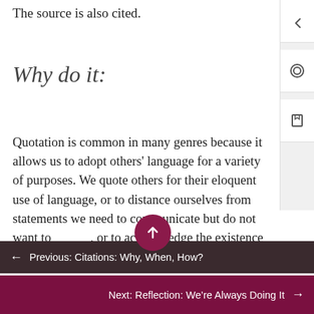The source is also cited.
Why do it:
Quotation is common in many genres because it allows us to adopt others' language for a variety of purposes. We quote others for their eloquent use of language, or to distance ourselves from statements we need to communicate but do not want to, or to acknowledge the existence of other perspectives and
← Previous: Citations: Why, When, How?
Next: Reflection: We're Always Doing It →